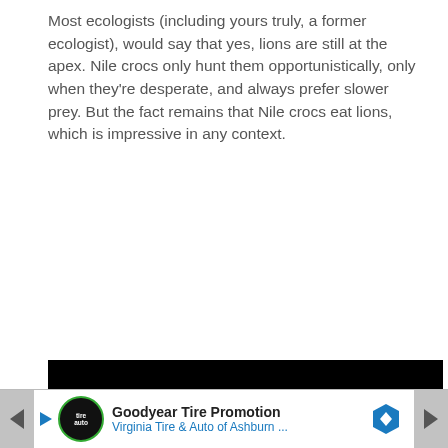Most ecologists (including yours truly, a former ecologist), would say that yes, lions are still at the apex. Nile crocs only hunt them opportunistically, only when they're desperate, and always prefer slower prey. But the fact remains that Nile crocs eat lions, which is impressive in any context.
[Figure (other): Black video player with a white play button triangle in the center]
[Figure (other): Thumbnail strip with four partially visible video thumbnails at the bottom of the video player]
[Figure (other): Advertisement banner for Goodyear Tire Promotion by Virginia Tire and Auto of Ashburn, with left/right navigation arrows, logo, and a blue navigation hexagon icon]